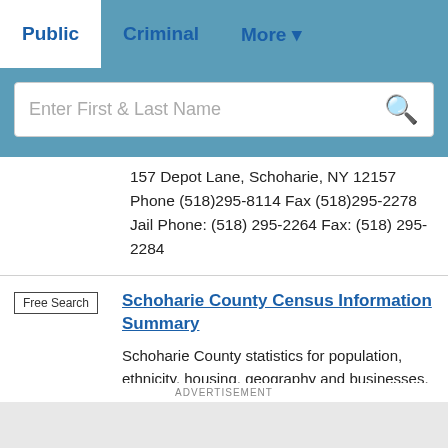Public | Criminal | More
Enter First & Last Name
157 Depot Lane, Schoharie, NY 12157
Phone (518)295-8114 Fax (518)295-2278
Jail Phone: (518) 295-2264 Fax: (518) 295-2284
Schoharie County Census Information Summary
Schoharie County statistics for population, ethnicity, housing, geography and businesses. From the U.S. Census Bureau.
ADVERTISEMENT